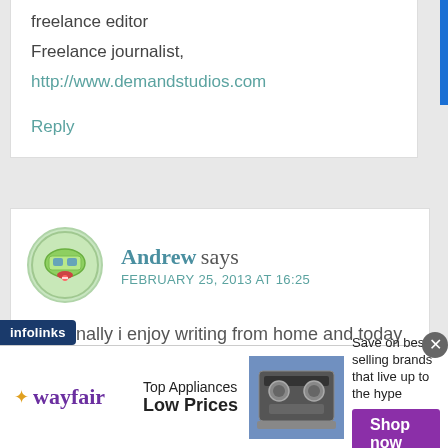freelance editor
Freelance journalist,
http://www.demandstudios.com
Reply
Andrew says
FEBRUARY 25, 2013 AT 16:25
personally i enjoy writing from home and today it is so easy to do so. It is extremely
[Figure (other): infolinks label bar on left side]
[Figure (other): Wayfair advertisement banner: Top Appliances Low Prices, Save on best selling brands that live up to the hype, Shop now button]